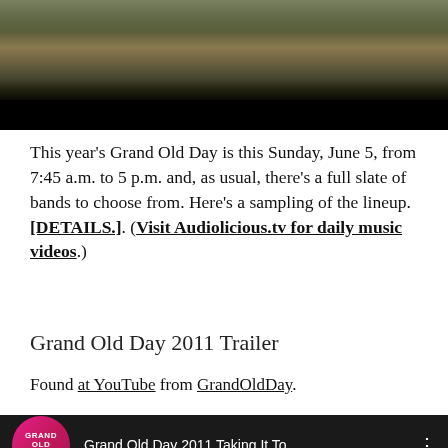[Figure (photo): Video screenshot showing a person near a tent and camping chair outdoors, with a dark bar at the bottom (video player UI).]
This year's Grand Old Day is this Sunday, June 5, from 7:45 a.m. to 5 p.m. and, as usual, there's a full slate of bands to choose from. Here's a sampling of the lineup. [DETAILS.]. (Visit Audiolicious.tv for daily music videos.)
Grand Old Day 2011 Trailer
Found at YouTube from GrandOldDay.
[Figure (screenshot): YouTube video thumbnail showing Grand Old Day 2011 Taking It To... with Grand Old Day logo on left.]